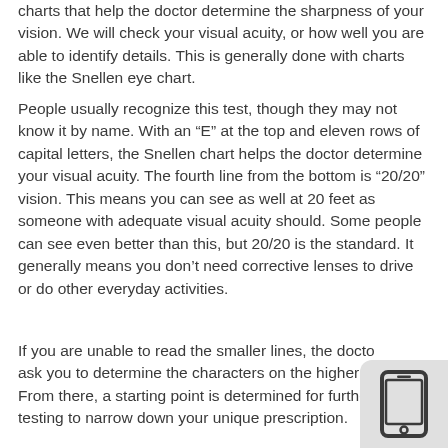charts that help the doctor determine the sharpness of your vision. We will check your visual acuity, or how well you are able to identify details. This is generally done with charts like the Snellen eye chart.
People usually recognize this test, though they may not know it by name. With an “E” at the top and eleven rows of capital letters, the Snellen chart helps the doctor determine your visual acuity. The fourth line from the bottom is “20/20” vision. This means you can see as well at 20 feet as someone with adequate visual acuity should. Some people can see even better than this, but 20/20 is the standard. It generally means you don’t need corrective lenses to drive or do other everyday activities.
If you are unable to read the smaller lines, the doctor ask you to determine the characters on the higher li... From there, a starting point is determined for further testing to narrow down your unique prescription.
[Figure (illustration): Smartphone/tablet device icon shown in bottom-right corner as a rounded rectangle with a screen, home button, and speaker.]